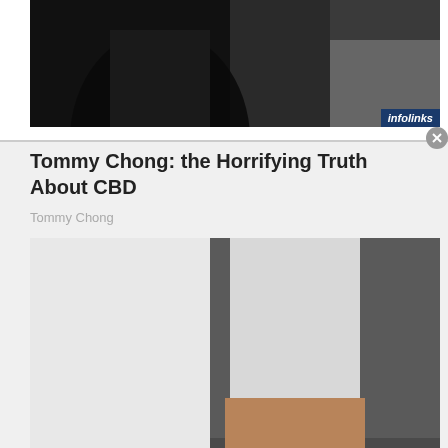[Figure (photo): Dark background image in top ad banner area showing partial figure with dark clothing, with infolinks branding badge in lower right corner]
Tommy Chong: the Horrifying Truth About CBD
Tommy Chong
[Figure (photo): Close-up photo of feet wearing white perforated slip-on shoes with tan/brown stripe and cream studded sole, with white cropped jeans, on a dark pavement background. infolinks badge visible at bottom left.]